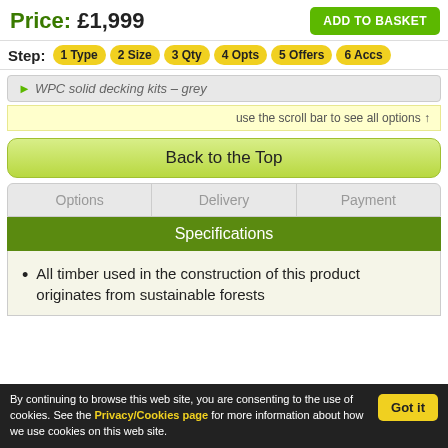Price: £1,999
ADD TO BASKET
Step: 1 Type  2 Size  3 Qty  4 Opts  5 Offers  6 Accs
WPC solid decking kits – grey
use the scroll bar to see all options ↑
Back to the Top
Options  Delivery  Payment
Specifications
All timber used in the construction of this product originates from sustainable forests
By continuing to browse this web site, you are consenting to the use of cookies. See the Privacy/Cookies page for more information about how we use cookies on this web site.
Got it